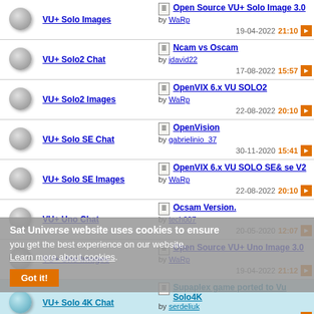VU+ Solo Images | Open Source VU+ Solo Image 3.0 by WaRp 19-04-2022 21:10
VU+ Solo2 Chat | Ncam vs Oscam by jdavid22 17-08-2022 15:57
VU+ Solo2 Images | OpenVIX 6.x VU SOLO2 by WaRp 22-08-2022 20:10
VU+ Solo SE Chat | OpenVision by gabrielinio_37 30-11-2020 15:41
VU+ Solo SE Images | OpenVIX 6.x VU SOLO SE& se V2 by WaRp 22-08-2022 20:10
VU+ Uno Chat | Ocsam Version. by tech007 20-05-2020 12:07
VU+ Uno Images | Open Source VU+ Uno Image 3.0 by WaRp 19-04-2022 21:12
VU+ Solo 4K Chat | Supaplex game ported to Vu Solo4K by serdeliuk 17-12-2021 14:28
VU+ Solo 4K Images | OpenVIX 6.x VU SOLO 4K by WaRp 22-08-2022 20:11
Sat Universe website uses cookies to ensure you get the best experience on our website. Learn more about cookies. Got it!